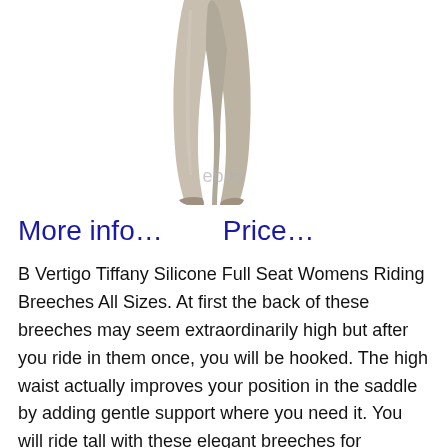[Figure (photo): Product photo showing lower body of a person wearing beige/taupe tight-fitting riding breeches/leggings, cropped at the waist and ending at the feet. eBay watermark visible at bottom.]
More info...    Price...
B Vertigo Tiffany Silicone Full Seat Womens Riding Breeches All Sizes. At first the back of these breeches may seem extraordinarily high but after you ride in them once, you will be hooked. The high waist actually improves your position in the saddle by adding gentle support where you need it. You will ride tall with these elegant breeches for schooling or show. Simple, elegant B Vertigo details won't detract from your appearance. The